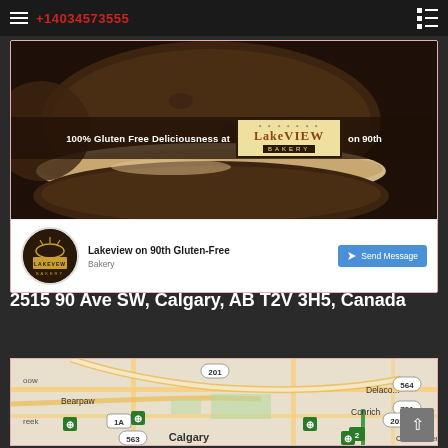+14034573555
[Figure (screenshot): Facebook page card for Lakeview on 90th Gluten-Free Bakery, showing banner image with chocolate sandwich cookies, Lakeview Bakery logo, page name, category 'Bakery', and Send Message button]
2515 90 Ave SW, Calgary, AB T2V 3H5, Canada
[Figure (map): Google Maps screenshot showing Calgary area with Bearpaw, Conrich, Chestermere, highway labels 201, 1A, 563, 2, 564, 791]